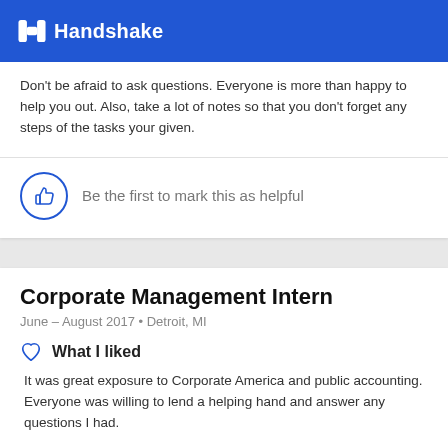Handshake
Don't be afraid to ask questions. Everyone is more than happy to help you out. Also, take a lot of notes so that you don't forget any steps of the tasks your given.
Be the first to mark this as helpful
Corporate Management Intern
June – August 2017 • Detroit, MI
What I liked
It was great exposure to Corporate America and public accounting. Everyone was willing to lend a helping hand and answer any questions I had.